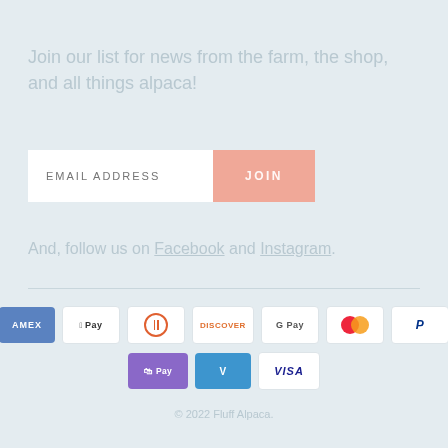Join our list for news from the farm, the shop, and all things alpaca!
[Figure (other): Email signup form with email address input field and JOIN button]
And, follow us on Facebook and Instagram.
[Figure (other): Payment method icons: American Express, Apple Pay, Diners Club, Discover, Google Pay, Mastercard, PayPal, Shop Pay, Venmo, Visa]
© 2022 Fluff Alpaca.